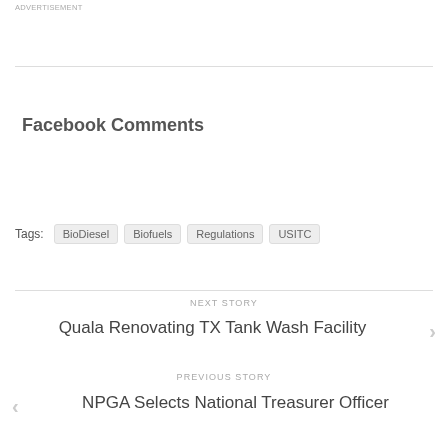ADVERTISEMENT
Facebook Comments
Tags: BioDiesel Biofuels Regulations USITC
NEXT STORY
Quala Renovating TX Tank Wash Facility
PREVIOUS STORY
NPGA Selects National Treasurer Officer